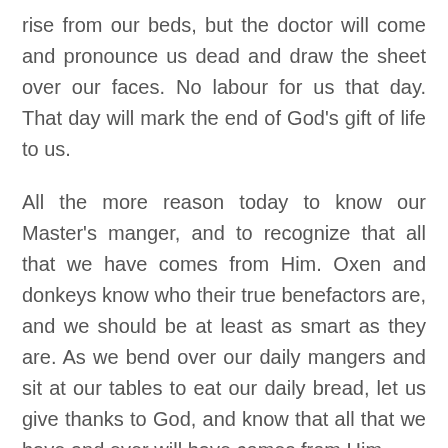rise from our beds, but the doctor will come and pronounce us dead and draw the sheet over our faces. No labour for us that day. That day will mark the end of God's gift of life to us.
All the more reason today to know our Master's manger, and to recognize that all that we have comes from Him. Oxen and donkeys know who their true benefactors are, and we should be at least as smart as they are. As we bend over our daily mangers and sit at our tables to eat our daily bread, let us give thanks to God, and know that all that we have and ever will have comes from Him.
As we approach the holy Christmas season, may the Master of all grant you peace, health, and joy, and a very